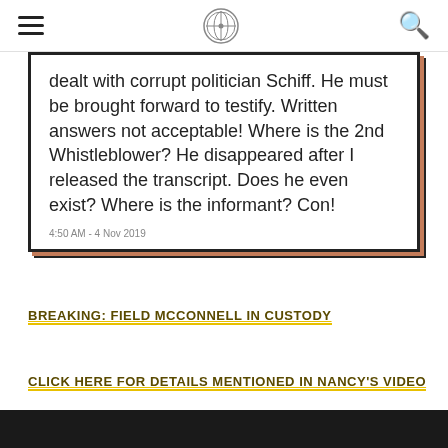[hamburger menu] [compass logo] [search icon]
dealt with corrupt politician Schiff. He must be brought forward to testify. Written answers not acceptable! Where is the 2nd Whistleblower? He disappeared after I released the transcript. Does he even exist? Where is the informant? Con!
4:50 AM - 4 Nov 2019
BREAKING: FIELD MCCONNELL IN CUSTODY
CLICK HERE FOR DETAILS MENTIONED IN NANCY'S VIDEO
[Figure (screenshot): Dark video bar at the bottom of the page]